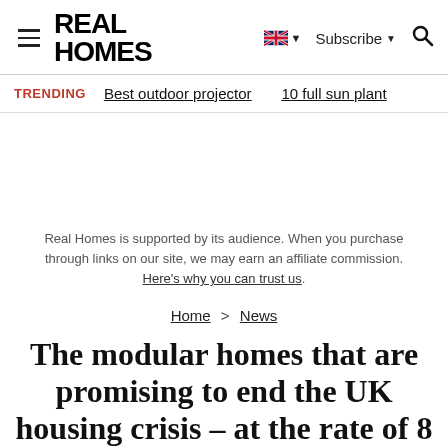REAL HOMES — Subscribe — Search
TRENDING   Best outdoor projector   10 full sun plant
Real Homes is supported by its audience. When you purchase through links on our site, we may earn an affiliate commission. Here's why you can trust us.
Home > News
The modular homes that are promising to end the UK housing crisis – at the rate of 8 new homes a